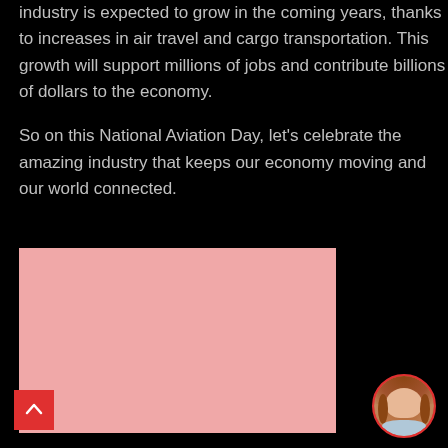The future of aviation is bright. The industry is expected to grow in the coming years, thanks to increases in air travel and cargo transportation. This growth will support millions of jobs and contribute billions of dollars to the economy.

So on this National Aviation Day, let's celebrate the amazing industry that keeps our economy moving and our world connected.
[Figure (photo): A pink/salmon-colored rectangular image placeholder]